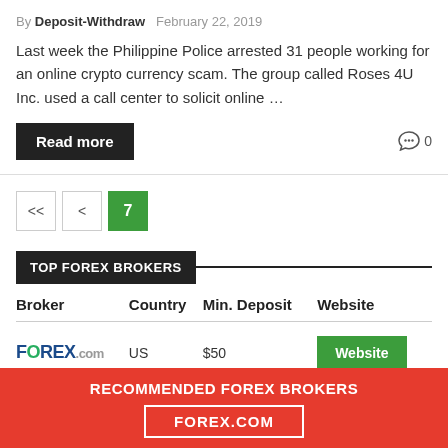By Deposit-Withdraw  February 22, 2019
Last week the Philippine Police arrested 31 people working for an online crypto currency scam. The group called Roses 4U Inc. used a call center to solicit online …
Read more   0
<<  <  7
TOP FOREX BROKERS
| Broker | Country | Min. Deposit | Website |
| --- | --- | --- | --- |
| FOREX.com | US | $50 | Website |
RECOMMENDED FOREX BROKERS
FOREX.COM